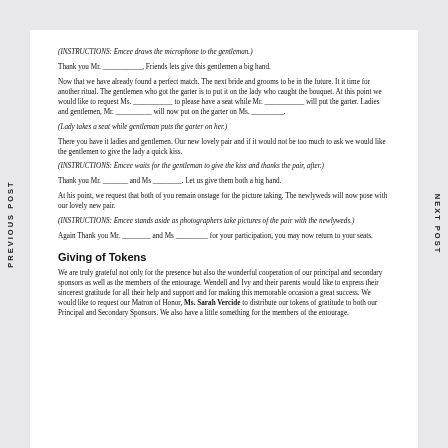PREVIOUS POST
NEXT POST
(INSTRUCTIONS: Emcee draws the microphone to the gentleman.)
Thank you Mr. ___________, Friends lets give this gentlemen a big hand.
Now that we have already found a perfect match. The next bride and grooms to be in the future. It it time for another ritual. The gentlemen who got the garter is to put it on the lady who caught the bouquet. At this point we would like to request Ms. ___________ to please have a seat while Mr. ___________ will put the garter. Ladies and gentlemen, Mr. __________ will now put on the garter on Ms. _________.
(Lady takes a seat while gentleman puts the garter on her.)
There you have it ladies and gentlemen. Our new lovely pair and if it would not be too much to ask we would like the gentlemen to give the lady a quick kiss.
(INSTRUCTIONS: Emcee waits for the gentleman to give the kiss and thanks the pair, after.)
Thank you Mr. _______ and Ms ________. Let us give them both a big hand.
At his point, we request that both of you remain onstage for the picture taking. The newlyweds will now pose with our lovely new pair.
(INSTRUCTIONS: Emcee stands aside as photographers take pictures of the pair with the newlyweds.)
Again Thank you Mr. ________ and Ms _________ for your participation, you may now return to your seats.
Giving of Tokens
We are truly grateful not only for the presence but also the wonderful cooperation of our principal and secondary sponsors as well as the members of the entourage. Wendell and Ivy and their parents would like to express their sincerest gratitude for all their help and support and for making this memorable occasion a great success. We would like to request our Matron of Honor, Ms. Sarah Vercide to distribute our tokens of gratitude to both our Principal and Secondary Sponsors. We also have a little something for the members of the entourage.